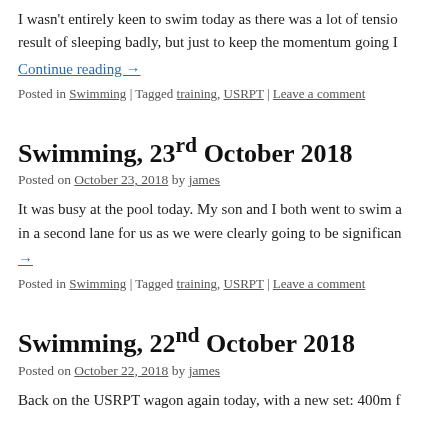I wasn't entirely keen to swim today as there was a lot of tension result of sleeping badly, but just to keep the momentum going I
Continue reading →
Posted in Swimming | Tagged training, USRPT | Leave a comment
Swimming, 23rd October 2018
Posted on October 23, 2018 by james
It was busy at the pool today. My son and I both went to swim a in a second lane for us as we were clearly going to be significan →
Posted in Swimming | Tagged training, USRPT | Leave a comment
Swimming, 22nd October 2018
Posted on October 22, 2018 by james
Back on the USRPT wagon again today, with a new set: 400m f